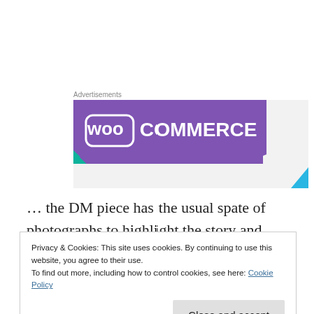[Figure (logo): WooCommerce advertisement banner with purple background and teal/blue accent shapes, white WooCommerce logo text]
... the DM piece has the usual spate of photographs to highlight the story and, despite
Privacy & Cookies: This site uses cookies. By continuing to use this website, you agree to their use.
To find out more, including how to control cookies, see here: Cookie Policy
Close and accept
this one: Baby Bones Were Trash to Romans